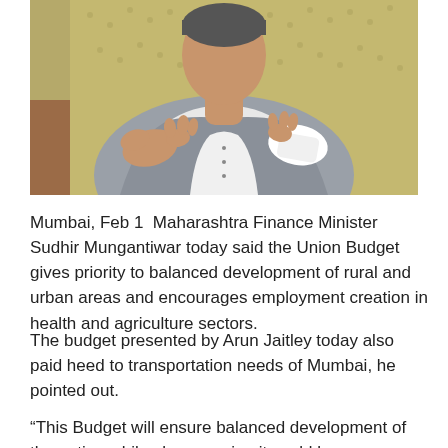[Figure (photo): Close-up photo of a person (finance minister) sitting in a chair, gesturing with hands, wearing white and grey clothing, against a green/yellow textured background.]
Mumbai, Feb 1  Maharashtra Finance Minister Sudhir Mungantiwar today said the Union Budget gives priority to balanced development of rural and urban areas and encourages employment creation in health and agriculture sectors.
The budget presented by Arun Jaitley today also paid heed to transportation needs of Mumbai, he pointed out.
“This Budget will ensure balanced development of the nation while also meaning it could be more specifically...